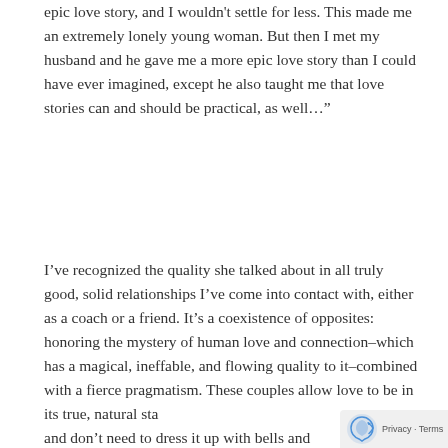epic love story, and I wouldn't settle for less. This made me an extremely lonely young woman. But then I met my husband and he gave me a more epic love story than I could have ever imagined, except he also taught me that love stories can and should be practical, as well…"
I've recognized the quality she talked about in all truly good, solid relationships I've come into contact with, either as a coach or a friend. It's a coexistence of opposites: honoring the mystery of human love and connection–which has a magical, ineffable, and flowing quality to it–combined with a fierce pragmatism. These couples allow love to be in its true, natural sta and don't need to dress it up with bells and